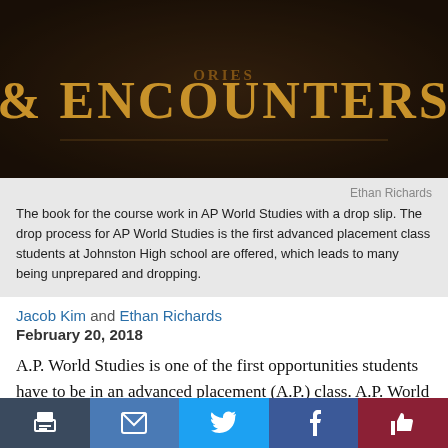[Figure (photo): A dark-colored book cover showing the text '& ENCOUNTERS' in large gold serif letters on a dark brown/black textured background.]
Ethan Richards
The book for the course work in AP World Studies with a drop slip. The drop process for AP World Studies is the first advanced placement class students at Johnston High school are offered, which leads to many being unprepared and dropping.
Jacob Kim and Ethan Richards
February 20, 2018
A.P. World Studies is one of the first opportunities students have to be in an advanced placement (A.P.) class. A.P. World Studies operates at a rapid pace and requires a more intensive... were 63...